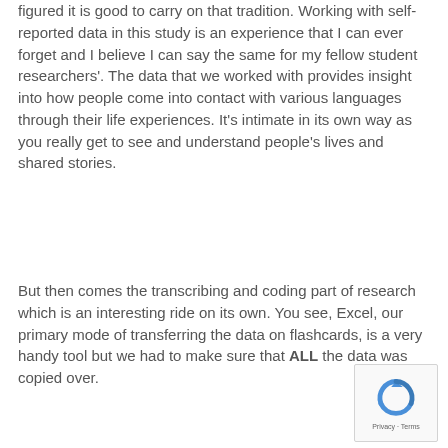figured it is good to carry on that tradition. Working with self-reported data in this study is an experience that I can ever forget and I believe I can say the same for my fellow student researchers'. The data that we worked with provides insight into how people come into contact with various languages through their life experiences. It's intimate in its own way as you really get to see and understand people's lives and shared stories.
But then comes the transcribing and coding part of research which is an interesting ride on its own. You see, Excel, our primary mode of transferring the data on flashcards, is a very handy tool but we had to make sure that ALL the data was copied over.
Read more
[Figure (other): Google reCAPTCHA widget with privacy and terms link]